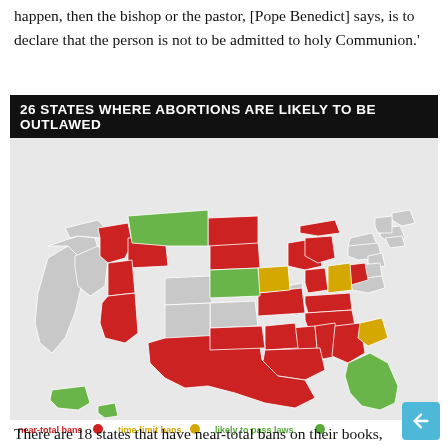happen, then the bishop or the pastor, [Pope Benedict] says, is to declare that the person is not to be admitted to holy Communion.'
[Figure (map): US map showing 26 states where abortions are likely to be outlawed, color-coded: red for near-total bans, yellow for time-limit bans, green for likely to pass laws]
There are 18 states that have near-total bans on their books,